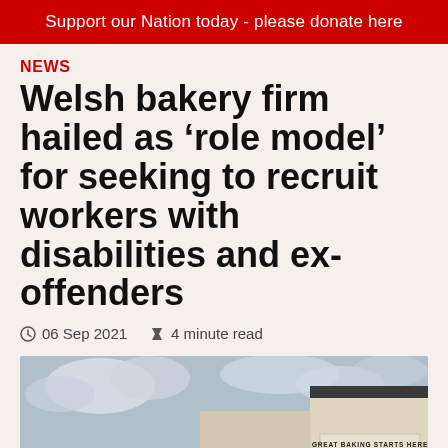Support our Nation today - please donate here
NEWS
Welsh bakery firm hailed as 'role model' for seeking to recruit workers with disabilities and ex-offenders
06 Sep 2021   4 minute read
[Figure (photo): Exterior of a bakery building with 'GREAT BAKING STARTS HERE' sign on the facade, colourful panels on lower floors, large windows, cloudy sky]